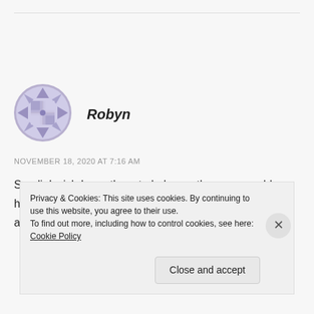[Figure (illustration): Circular avatar icon with geometric/quilt-like pattern in muted purple/lavender tones]
Robyn
NOVEMBER 18, 2020 AT 7:16 AM
Sandi, I wish I was there to help you the way your blog helps so many. Dear friend know my love for you is real and I pray this struggle isn't long and happiness
Privacy & Cookies: This site uses cookies. By continuing to use this website, you agree to their use.
To find out more, including how to control cookies, see here: Cookie Policy
Close and accept